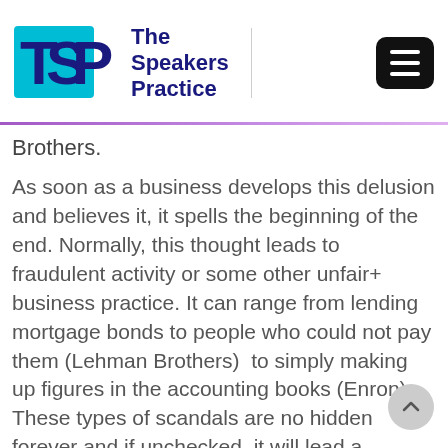[Figure (logo): TSP - The Speakers Practice logo with cyan and dark blue TSP monogram and text]
Brothers.
As soon as a business develops this delusion and believes it, it spells the beginning of the end. Normally, this thought leads to fraudulent activity or some other unfair+ business practice. It can range from lending mortgage bonds to people who could not pay them (Lehman Brothers)  to simply making up figures in the accounting books (Enron). These types of scandals are no hidden forever and if unchecked, it will lead a company to bankruptcy at best and imprisonment for white